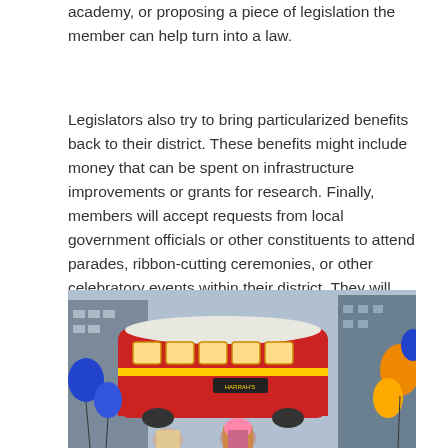academy, or proposing a piece of legislation the member can help turn into a law.
Legislators also try to bring particularized benefits back to their district. These benefits might include money that can be spent on infrastructure improvements or grants for research. Finally, members will accept requests from local government officials or other constituents to attend parades, ribbon-cutting ceremonies, or other celebratory events within their district. They will also work with teachers and faculty to visit classes or meet with students on field trips to the state capitol.
[Figure (photo): A red and yellow streetcar (trolley) in a parade or public event, surrounded by people holding colorful blue and yellow balloons or inflatable items. Buildings visible in the background.]